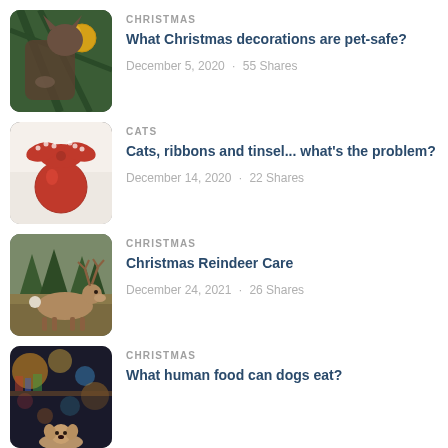[Figure (photo): Cat reaching toward Christmas tree ornament, close-up photo with dark green tree background and gold ornament]
CHRISTMAS
What Christmas decorations are pet-safe?
December 5, 2020 · 55 Shares
[Figure (photo): Red Christmas ornament with a red and white polka-dot ribbon bow on a white background]
CATS
Cats, ribbons and tinsel... what's the problem?
December 14, 2020 · 22 Shares
[Figure (photo): Reindeer walking in a forested area, side profile view with antlers visible]
CHRISTMAS
Christmas Reindeer Care
December 24, 2021 · 26 Shares
[Figure (photo): Partial photo showing warm bokeh lights and colorful blurred background with a small dog visible at bottom]
CHRISTMAS
What human food can dogs eat?